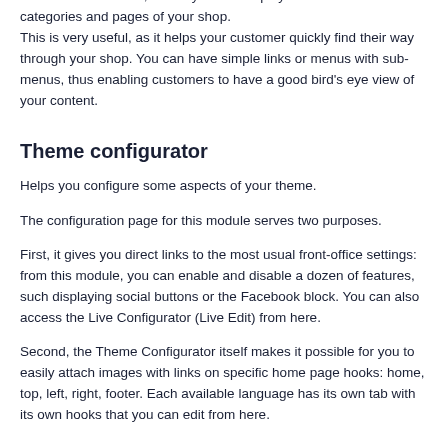This is an important module. It adds a whole new block at the bottom of the header, where you can display links to the various categories and pages of your shop.
This is very useful, as it helps your customer quickly find their way through your shop. You can have simple links or menus with sub-menus, thus enabling customers to have a good bird's eye view of your content.
Theme configurator
Helps you configure some aspects of your theme.
The configuration page for this module serves two purposes.
First, it gives you direct links to the most usual front-office settings: from this module, you can enable and disable a dozen of features, such displaying social buttons or the Facebook block. You can also access the Live Configurator (Live Edit) from here.
Second, the Theme Configurator itself makes it possible for you to easily attach images with links on specific home page hooks: home, top, left, right, footer. Each available language has its own tab with its own hooks that you can edit from here.